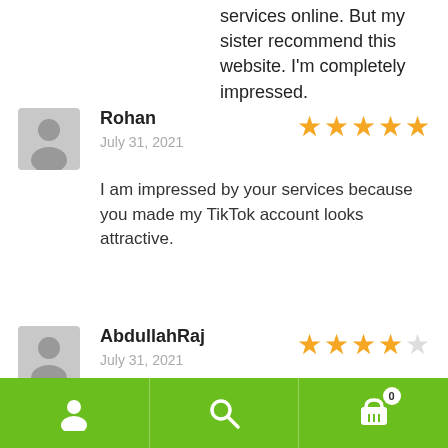services online. But my sister recommend this website. I'm completely impressed.
Rohan
July 31, 2021
★★★★★
I am impressed by your services because you made my TikTok account looks attractive.
AbdullahRaj
July 31, 2021
★★★★☆
First of all I like to thank for the great team
[Figure (infographic): Green bottom navigation bar with person icon, search icon, and cart icon with badge showing 0]